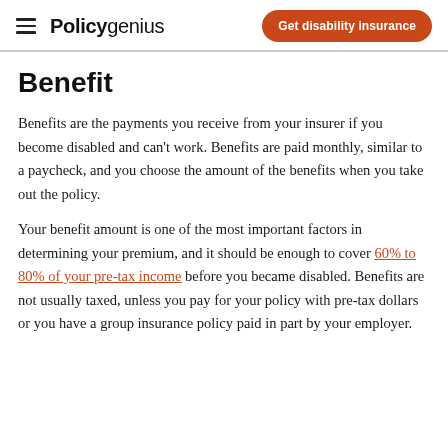Policygenius | Get disability insurance
Benefit
Benefits are the payments you receive from your insurer if you become disabled and can't work. Benefits are paid monthly, similar to a paycheck, and you choose the amount of the benefits when you take out the policy.
Your benefit amount is one of the most important factors in determining your premium, and it should be enough to cover 60% to 80% of your pre-tax income before you became disabled. Benefits are not usually taxed, unless you pay for your policy with pre-tax dollars or you have a group insurance policy paid in part by your employer.